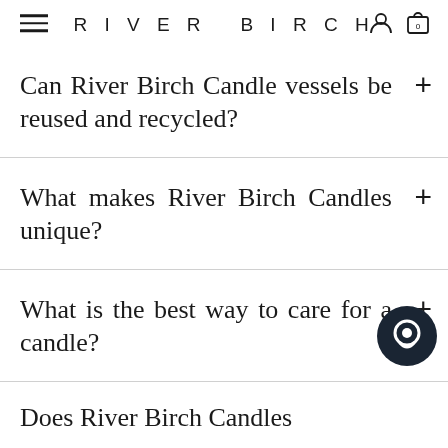RIVER BIRCH
Can River Birch Candle vessels be reused and recycled?
What makes River Birch Candles unique?
What is the best way to care for a candle?
Does River Birch Candles